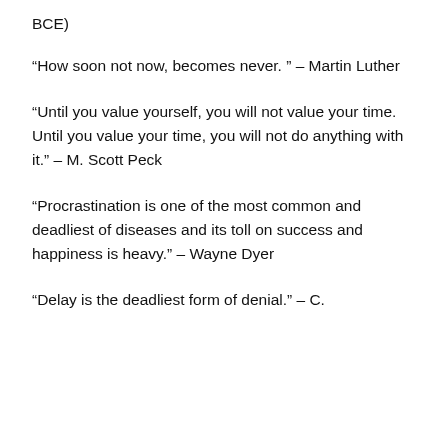BCE)
“How soon not now, becomes never. ” – Martin Luther
“Until you value yourself, you will not value your time. Until you value your time, you will not do anything with it.” – M. Scott Peck
“Procrastination is one of the most common and deadliest of diseases and its toll on success and happiness is heavy.” – Wayne Dyer
“Delay is the deadliest form of denial.” – C.